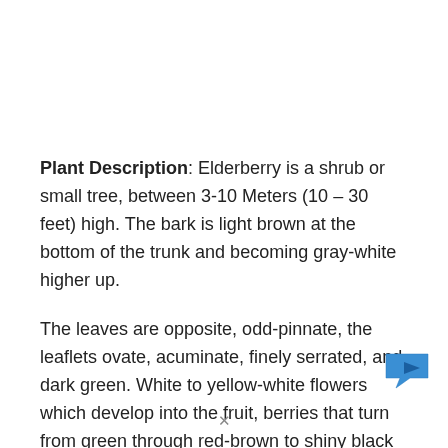Plant Description: Elderberry is a shrub or small tree, between 3-10 Meters (10 – 30 feet) high. The bark is light brown at the bottom of the trunk and becoming gray-white higher up.
The leaves are opposite, odd-pinnate, the leaflets ovate, acuminate, finely serrated, and dark green. White to yellow-white flowers which develop into the fruit, berries that turn from green through red-brown to shiny black
[Figure (illustration): Small blue chat/message icon with arrow in bottom-right corner of the page]